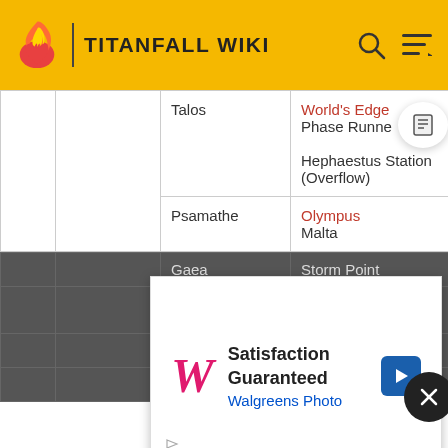TITANFALL WIKI
|  |  | Planet/Moon | Map(s) |
| --- | --- | --- | --- |
|  |  | Talos | World's Edge
Phase Runner

Hephaestus Station (Overflow) |
|  |  | Psamathe | Olympus
Malta |
|  |  | Gaea | Storm Point
4 |
|  |  |  | cage
Matakana |